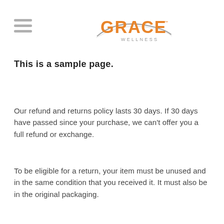[Figure (logo): Grace Wellness logo with orange text GRACE and grey cursive swirl, WELLNESS in grey below]
This is a sample page.
Our refund and returns policy lasts 30 days. If 30 days have passed since your purchase, we can't offer you a full refund or exchange.
To be eligible for a return, your item must be unused and in the same condition that you received it. It must also be in the original packaging.